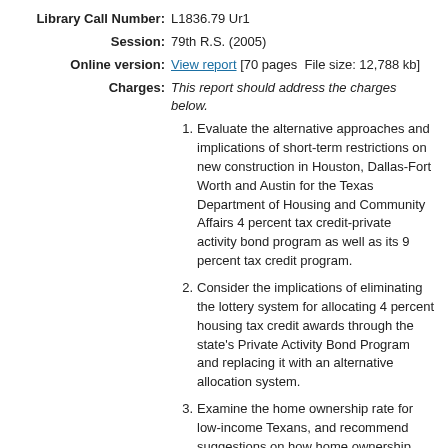Library Call Number: L1836.79 Ur1
Session: 79th R.S. (2005)
Online version: View report [70 pages  File size: 12,788 kb]
Charges: This report should address the charges below.
1. Evaluate the alternative approaches and implications of short-term restrictions on new construction in Houston, Dallas-Fort Worth and Austin for the Texas Department of Housing and Community Affairs 4 percent tax credit-private activity bond program as well as its 9 percent tax credit program.
2. Consider the implications of eliminating the lottery system for allocating 4 percent housing tax credit awards through the state's Private Activity Bond Program and replacing it with an alternative allocation system.
3. Examine the home ownership rate for low-income Texans, and recommend suggestions on how home ownership rates can be improved for underserved populations.